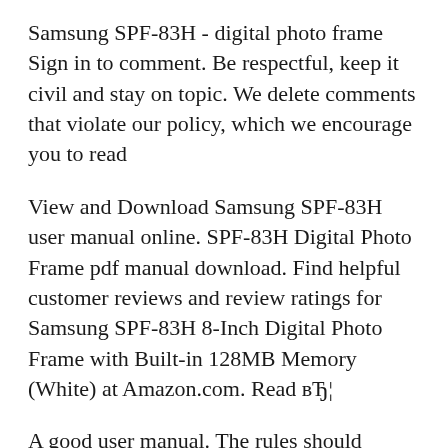Samsung SPF-83H - digital photo frame Sign in to comment. Be respectful, keep it civil and stay on topic. We delete comments that violate our policy, which we encourage you to read
View and Download Samsung SPF-83H user manual online. SPF-83H Digital Photo Frame pdf manual download. Find helpful customer reviews and review ratings for Samsung SPF-83H 8-Inch Digital Photo Frame with Built-in 128MB Memory (White) at Amazon.com. Read вЂ¦
A good user manual. The rules should oblige the seller to give the purchaser an operating instrucion of Samsung 1000P, along with an item. The lack of an instruction or false information